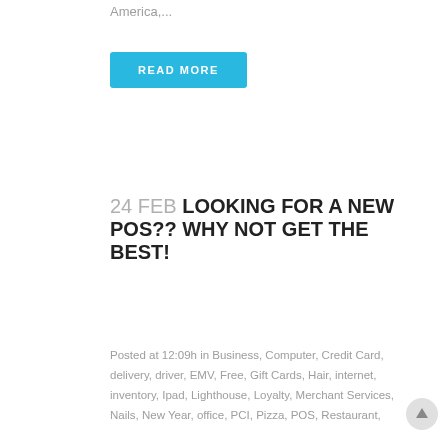America,...
READ MORE
24 FEB LOOKING FOR A NEW POS?? WHY NOT GET THE BEST!
Posted at 12:09h in Business, Computer, Credit Card, delivery, driver, EMV, Free, Gift Cards, Hair, internet, inventory, Ipad, Lighthouse, Loyalty, Merchant Services, Nails, New Year, office, PCI, Pizza, POS, Restaurant,